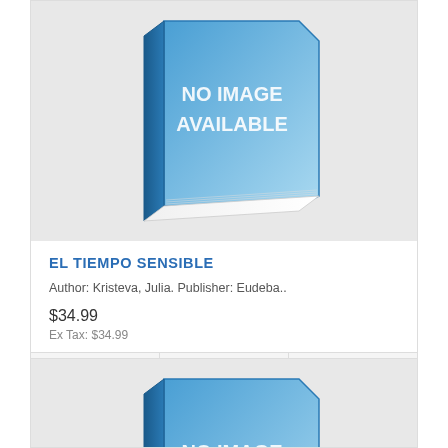[Figure (illustration): Book placeholder image with text NO IMAGE AVAILABLE on a blue book graphic against gray background]
EL TIEMPO SENSIBLE
Author: Kristeva, Julia. Publisher: Eudeba..
$34.99
Ex Tax: $34.99
[Figure (illustration): Second book placeholder image with text NO IMAGE AVAILABLE on a blue book graphic against gray background, partially visible]